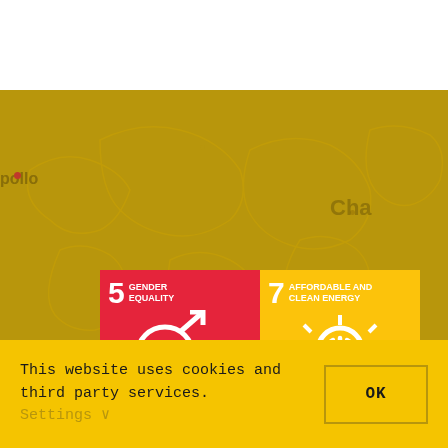[Figure (map): World map rendered in golden/olive tones showing country outlines as a background for SDG-related content]
[Figure (infographic): SDG tile 5 - Gender Equality (red background) with gender symbol icon]
[Figure (infographic): SDG tile 7 - Affordable and Clean Energy (yellow background) with power/sun icon]
This website uses cookies and third party services. Settings ∨
OK